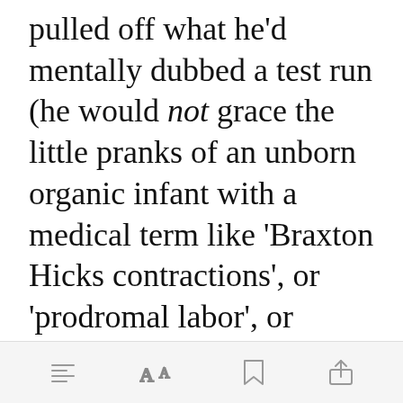pulled off what he'd mentally dubbed a test run (he would not grace the little pranks of an unborn organic infant with a medical term like 'Braxton Hicks contractions', or 'prodromal labor', or whatever this nonsense was called), and the constant see-saw between tense anticipation and frustrated relaxation was beginning to seriously grate on his neural
[toolbar: menu, font size, bookmark, share]